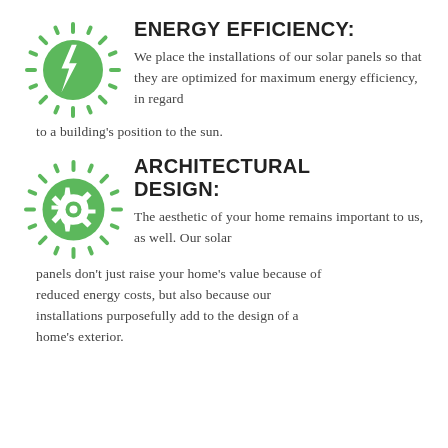[Figure (illustration): Green sun/solar icon with lightning bolt symbol in center, radiating spikes around a circle, in green color scheme]
ENERGY EFFICIENCY:
We place the installations of our solar panels so that they are optimized for maximum energy efficiency, in regard to a building's position to the sun.
[Figure (illustration): Green sun/solar icon with gear/cog symbol in center, radiating spikes around a circle, in green color scheme]
ARCHITECTURAL DESIGN:
The aesthetic of your home remains important to us, as well. Our solar panels don't just raise your home's value because of reduced energy costs, but also because our installations purposefully add to the design of a home's exterior.